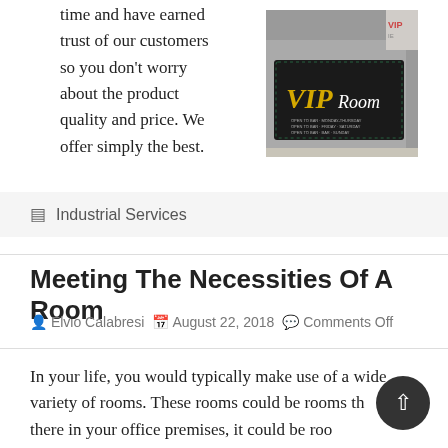time and have earned trust of our customers so you don't worry about the product quality and price. We offer simply the best.
[Figure (photo): A photo of a building exterior showing a VIP Room sign with gold lettering on a dark background with decorative lights.]
Industrial Services
Meeting The Necessities Of A Room
Elvio Calabresi   August 22, 2018   Comments Off
In your life, you would typically make use of a wide variety of rooms. These rooms could be rooms that are there in your office premises, it could be roo...